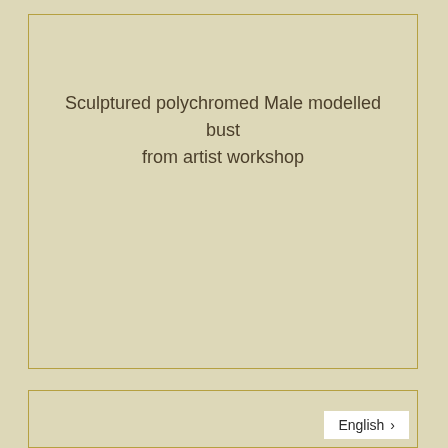Sculptured polychromed Male modelled bust from artist workshop
English >